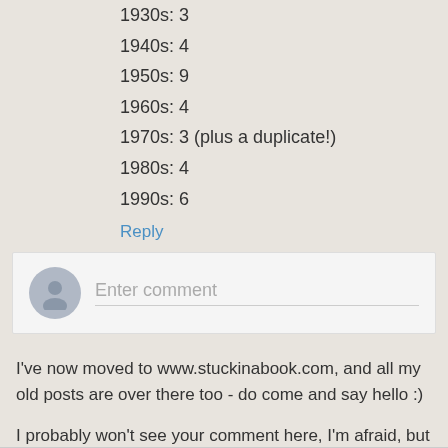1930s: 3
1940s: 4
1950s: 9
1960s: 4
1970s: 3 (plus a duplicate!)
1980s: 4
1990s: 6
Reply
Enter comment
I've now moved to www.stuckinabook.com, and all my old posts are over there too - do come and say hello :)
I probably won't see your comment here, I'm afraid, but all my archive posts can also be found at www.stuckinabook.com.